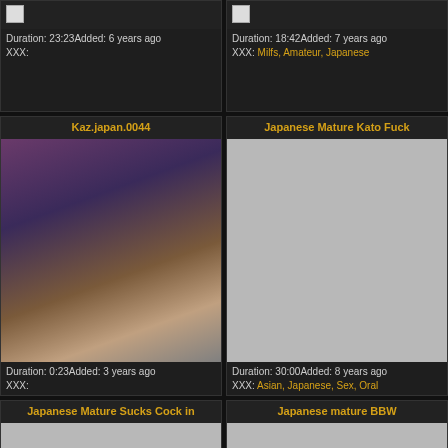[Figure (screenshot): Top-left video card: broken image icon, Duration 23:23, Added 6 years ago, XXX: (no tags)]
[Figure (screenshot): Top-right video card: broken image icon, Duration 18:42, Added 7 years ago, XXX: Milfs, Amateur, Japanese]
[Figure (screenshot): Middle-left video card: title Kaz.japan.0044, thumbnail image of adult content, Duration 0:23, Added 3 years ago, XXX: (no tags)]
[Figure (screenshot): Middle-right video card: title Japanese Mature Kato Fuck, gray placeholder thumbnail, Duration 30:00, Added 8 years ago, XXX: Asian, Japanese, Sex, Oral]
[Figure (screenshot): Bottom-left video card: title Japanese Mature Sucks Cock in, gray placeholder thumbnail]
[Figure (screenshot): Bottom-right video card: title Japanese mature BBW, gray placeholder thumbnail]